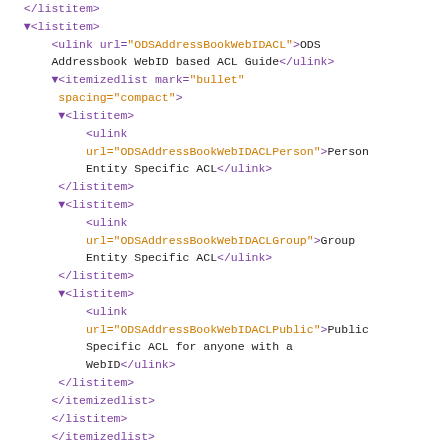XML/DocBook source code showing nested listitem and itemizedlist elements with ulink references to ODS Address Book WebID ACL guides and ODS PKI Setup guide